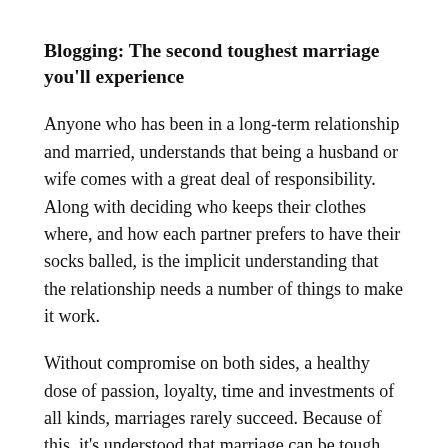Blogging: The second toughest marriage you'll experience
Anyone who has been in a long-term relationship and married, understands that being a husband or wife comes with a great deal of responsibility. Along with deciding who keeps their clothes where, and how each partner prefers to have their socks balled, is the implicit understanding that the relationship needs a number of things to make it work.
Without compromise on both sides, a healthy dose of passion, loyalty, time and investments of all kinds, marriages rarely succeed. Because of this, it's understood that marriage can be tough, even while it remains one of our most celebrated and appreciated institutions. Some friends of mine recently celebrated their Ruby wedding anniversary,